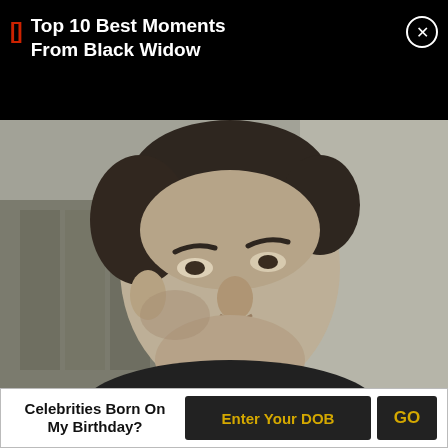Top 10 Best Moments From Black Widow
[Figure (photo): Black and white photograph of a young man with dark curly hair, shown from shoulders up, looking slightly to the side]
Celebrities Born On My Birthday?
Enter Your DOB
GO